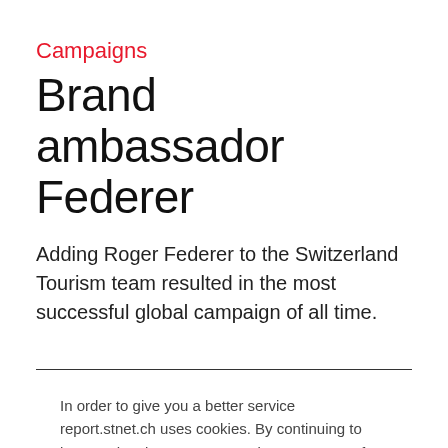Campaigns
Brand ambassador Federer
Adding Roger Federer to the Switzerland Tourism team resulted in the most successful global campaign of all time.
In order to give you a better service report.stnet.ch uses cookies. By continuing to browse the site you are agreeing to our use of cookies. More info.
I agree!